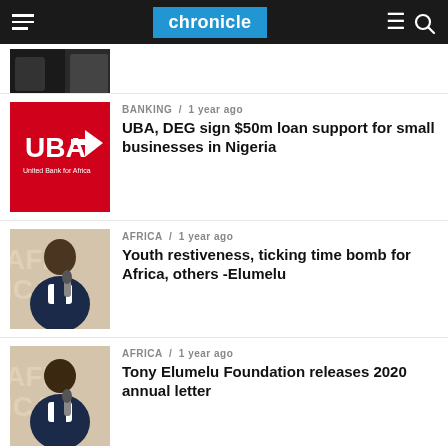chronicle
[Figure (photo): Partial thumbnail image at top, dark/night scene]
BANKING / 1 year ago
UBA, DEG sign $50m loan support for small businesses in Nigeria
[Figure (logo): UBA United Bank for Africa logo on red background]
AFRICA / 1 year ago
Youth restiveness, ticking time bomb for Africa, others -Elumelu
[Figure (photo): Photo of Tony Elumelu holding microphone, smiling, in suit]
AFRICA / 1 year ago
Tony Elumelu Foundation releases 2020 annual letter
[Figure (photo): Photo of Tony Elumelu holding microphone, smiling, in suit]
MORE POSTS